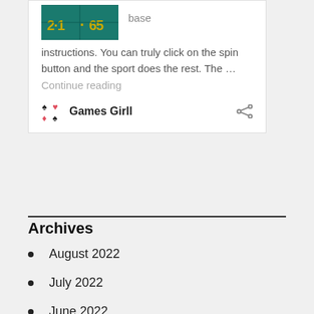[Figure (photo): Cropped image of a roulette/casino game board with teal/green background and numbers]
base
instructions. You can truly click on the spin button and the sport does the rest. The … Continue reading
Games Girll
Archives
August 2022
July 2022
June 2022
May 2022